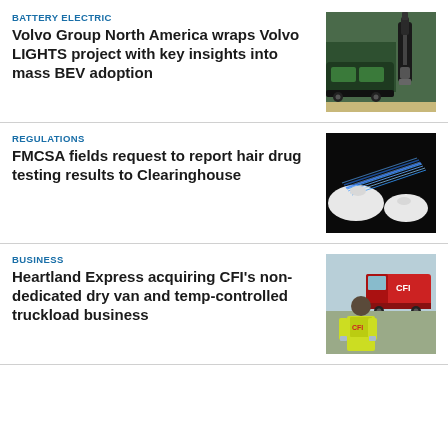BATTERY ELECTRIC
Volvo Group North America wraps Volvo LIGHTS project with key insights into mass BEV adoption
[Figure (photo): Electric truck with EV charging equipment in a facility]
REGULATIONS
FMCSA fields request to report hair drug testing results to Clearinghouse
[Figure (photo): Close-up of blue fiber optic cables or hair strands being held with gloved hands against dark background]
BUSINESS
Heartland Express acquiring CFI's non-dedicated dry van and temp-controlled truckload business
[Figure (photo): Person in a yellow CFI safety vest standing in front of a red CFI truck]